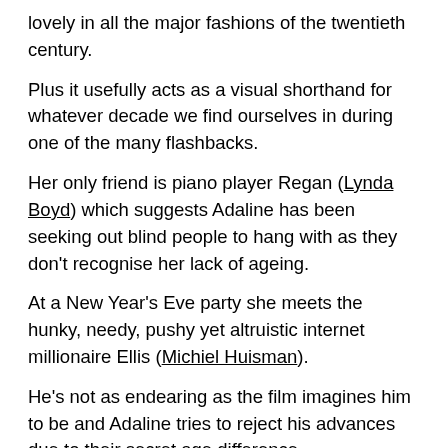lovely in all the major fashions of the twentieth century.
Plus it usefully acts as a visual shorthand for whatever decade we find ourselves in during one of the many flashbacks.
Her only friend is piano player Regan (Lynda Boyd) which suggests Adaline has been seeking out blind people to hang with as they don't recognise her lack of ageing.
At a New Year's Eve party she meets the hunky, needy, pushy yet altruistic internet millionaire Ellis (Michiel Huisman).
He's not as endearing as the film imagines him to be and Adaline tries to reject his advances due to their secret age difference.
There are several dates, shooting stars, snow storms, two car accidents and a drive-in movie.
Despite Adaline's reservations she agrees to visit Ellis's parents where someone kindly explains the rules of Trivial Pursuit for those watching who haven't…